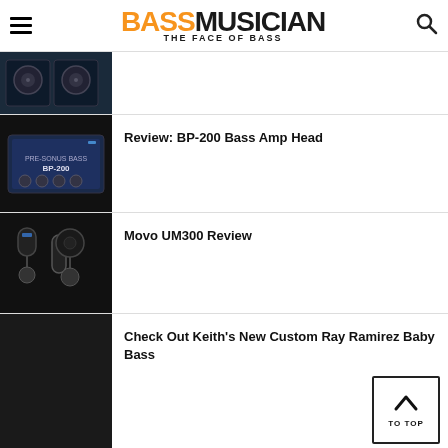BASS MUSICIAN — THE FACE OF BASS
[Figure (photo): Speaker cabinet product photo — dark blue/black studio monitors]
[Figure (photo): BP-200 Bass Amp Head product photo — dark blue amplifier unit]
Review: BP-200 Bass Amp Head
[Figure (photo): Movo UM300 microphone product photo — two microphones with stands]
Movo UM300 Review
[Figure (photo): Dark background thumbnail]
Check Out Keith's New Custom Ray Ramirez Baby Bass
Arturia AudioFuse Demo 5 – Input and Output Overview –